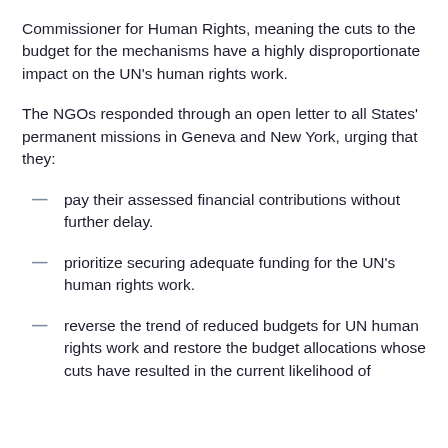Commissioner for Human Rights, meaning the cuts to the budget for the mechanisms have a highly disproportionate impact on the UN's human rights work.
The NGOs responded through an open letter to all States' permanent missions in Geneva and New York, urging that they:
pay their assessed financial contributions without further delay.
prioritize securing adequate funding for the UN's human rights work.
reverse the trend of reduced budgets for UN human rights work and restore the budget allocations whose cuts have resulted in the current likelihood of